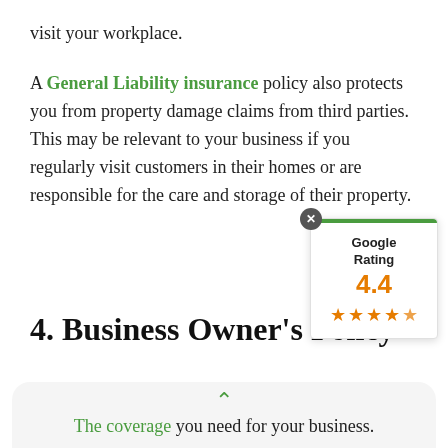visit your workplace.
A General Liability insurance policy also protects you from property damage claims from third parties. This may be relevant to your business if you regularly visit customers in their homes or are responsible for the care and storage of their property.
[Figure (other): Google Rating popup widget showing 4.4 rating with 4.5 stars, with a green bar at top and close button]
4. Business Owner's Policy
The coverage you need for your business.